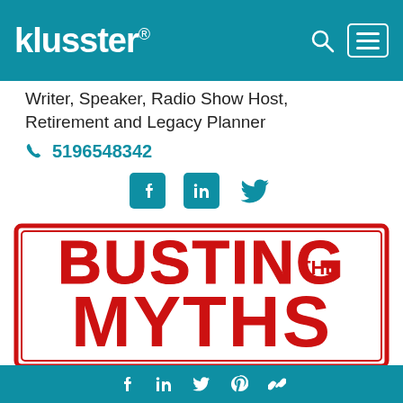klusster®
Writer, Speaker, Radio Show Host, Retirement and Legacy Planner
5196548342
[Figure (illustration): Social media icons: Facebook, LinkedIn, Twitter]
[Figure (photo): Stamp-style image with red bold text reading BUSTING THE MYTHS on white background with red border]
Myths about Financial Planning
Footer with Facebook, LinkedIn, Twitter, Pinterest, and link icons